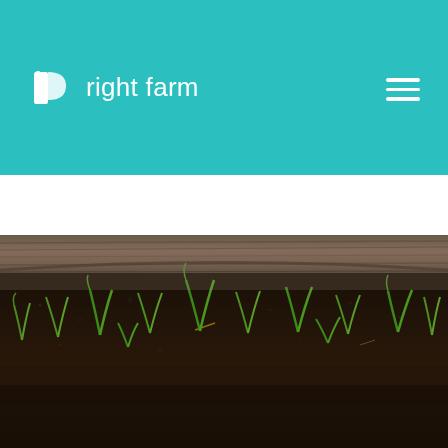right farm
[Figure (photo): Close-up macro photograph of young green seedlings sprouting from dark soil in a planting tray or garden bed, with a wooden border visible at the top of the frame. The image has a shallow depth of field with the foreground slightly blurred.]